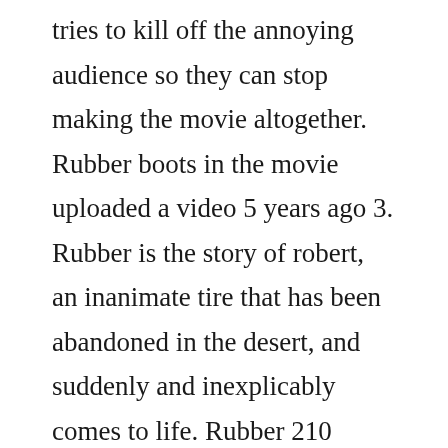tries to kill off the annoying audience so they can stop making the movie altogether. Rubber boots in the movie uploaded a video 5 years ago 3. Rubber is the story of robert, an inanimate tire that has been abandoned in the desert, and suddenly and inexplicably comes to life. Rubber 210 movie clip psychokinetic tire 2010 hd duration. A homicidal car tire, discovering it has destructive psionic power, sets its sights on a desert town once a mysterious woman becomes its obsession. One day, he wakes up with a condom that he